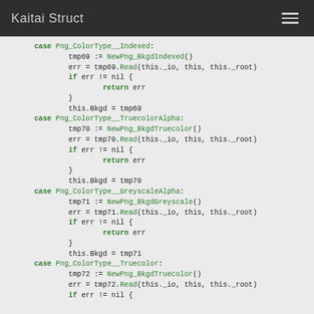Kaitai Struct
case Png_ColorType__Indexed:
    tmp69 := NewPng_BkgdIndexed()
    err = tmp69.Read(this._io, this, this._root)
    if err != nil {
        return err
    }
    this.Bkgd = tmp69
case Png_ColorType__TruecolorAlpha:
    tmp70 := NewPng_BkgdTruecolor()
    err = tmp70.Read(this._io, this, this._root)
    if err != nil {
        return err
    }
    this.Bkgd = tmp70
case Png_ColorType__GreyscaleAlpha:
    tmp71 := NewPng_BkgdGreyscale()
    err = tmp71.Read(this._io, this, this._root)
    if err != nil {
        return err
    }
    this.Bkgd = tmp71
case Png_ColorType__Truecolor:
    tmp72 := NewPng_BkgdTruecolor()
    err = tmp72.Read(this._io, this, this._root)
    if err != nil {